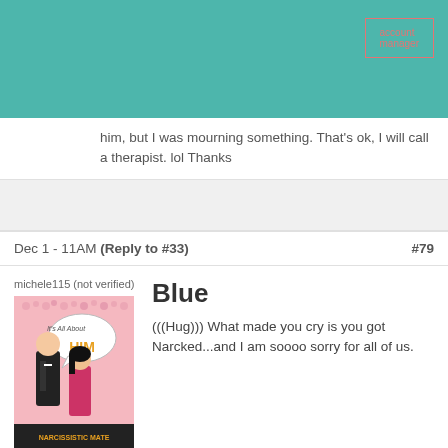[teal header bar with login button]
him, but I was mourning something. That's ok, I will call a therapist. lol Thanks
Dec 1 - 11AM (Reply to #33) #79
michele115 (not verified)
Blue
[Figure (illustration): Book cover illustration: 'It's All About HIM' with man and woman, subtitle 'NARCISSISTIC MATE']
(((Hug))) What made you cry is you got Narcked...and I am soooo sorry for all of us.